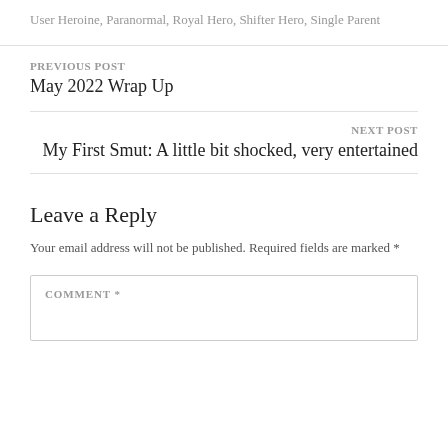User Heroine, Paranormal, Royal Hero, Shifter Hero, Single Parent
PREVIOUS POST
May 2022 Wrap Up
NEXT POST
My First Smut: A little bit shocked, very entertained
Leave a Reply
Your email address will not be published. Required fields are marked *
COMMENT *